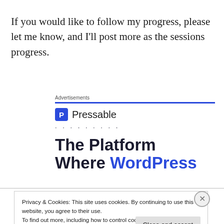If you would like to follow my progress, please let me know, and I'll post more as the sessions progress.
[Figure (screenshot): Pressable advertisement banner with blue line, Pressable logo with P icon, dotted line decoration, and large headline text 'The Platform Where WordPress' in dark navy and blue colors]
Privacy & Cookies: This site uses cookies. By continuing to use this website, you agree to their use.
To find out more, including how to control cookies, see here: Cookie Policy